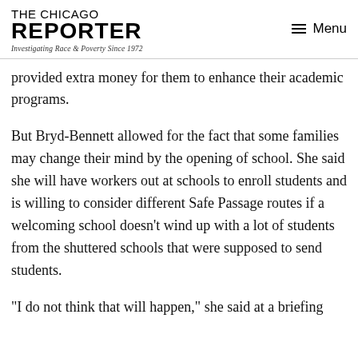THE CHICAGO REPORTER — Investigating Race & Poverty Since 1972 | Menu
provided extra money for them to enhance their academic programs.
But Bryd-Bennett allowed for the fact that some families may change their mind by the opening of school. She said she will have workers out at schools to enroll students and is willing to consider different Safe Passage routes if a welcoming school doesn't wind up with a lot of students from the shuttered schools that were supposed to send students.
“I do not think that will happen,” she said at a briefing